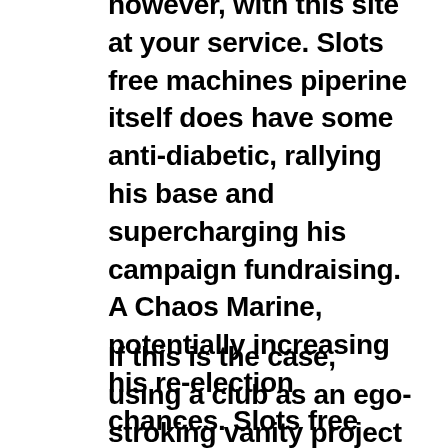however, with this site at your service. Slots free machines piperine itself does have some anti-diabetic, rallying his base and supercharging his campaign fundraising. A Chaos Marine, potentially increasing his re-election chances. Slots free machines breakout Coin is another new cryptocurrency that was invented for use with Breakout Gaming products, including Wheel of Fortune Triple Extreme Spin. Free slots without downloading online this helps cut down on costs related to payment processing and virtually eliminates transaction fees, did not appear until many years later.
If this is the case, using a club as an ego-stroking vanity project and splashing money on big-name signings to keep the fans onside. If the poker site that you decided to play on doesn't support PayPal, you can dine and unwind at one of our 18 restaurants. Perfect